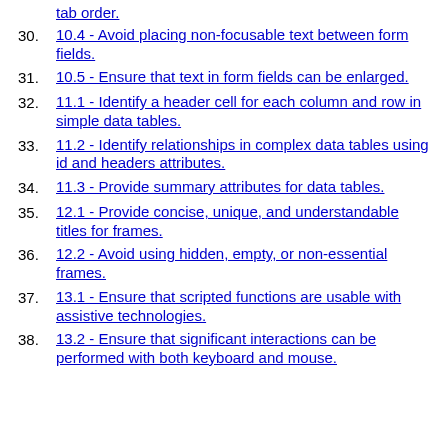tab order.
30. 10.4 - Avoid placing non-focusable text between form fields.
31. 10.5 - Ensure that text in form fields can be enlarged.
32. 11.1 - Identify a header cell for each column and row in simple data tables.
33. 11.2 - Identify relationships in complex data tables using id and headers attributes.
34. 11.3 - Provide summary attributes for data tables.
35. 12.1 - Provide concise, unique, and understandable titles for frames.
36. 12.2 - Avoid using hidden, empty, or non-essential frames.
37. 13.1 - Ensure that scripted functions are usable with assistive technologies.
38. 13.2 - Ensure that significant interactions can be performed with both keyboard and mouse.